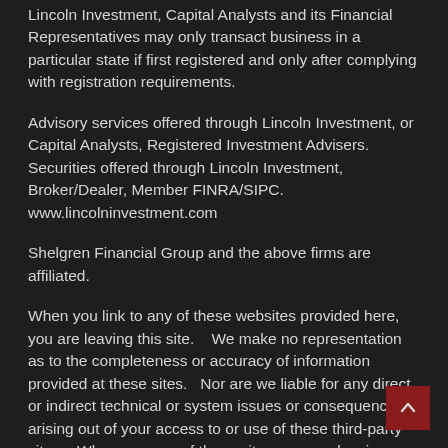Lincoln Investment, Capital Analysts and its Financial Representatives may only transact business in a particular state if first registered and only after complying with registration requirements.
Advisory services offered through Lincoln Investment, or Capital Analysts, Registered Investment Advisers.   Securities offered through Lincoln Investment, Broker/Dealer, Member FINRA/SIPC.   www.lincolninvestment.com
Shelgren Financial Group and the above firms are affiliated.
When you link to any of these websites provided here, you are leaving this site.    We make no representation as to the completeness or accuracy of information provided at these sites.   Nor are we liable for any direct or indirect technical or system issues or consequences arising out of your access to or use of these third-party sites.   When you one of these sites, you are leaving www.shelgrenfinancial.com a assume total responsibility for your use of the sites you are visiting.